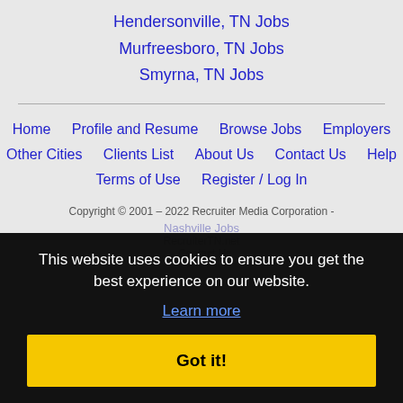Hendersonville, TN Jobs
Murfreesboro, TN Jobs
Smyrna, TN Jobs
Home | Profile and Resume | Browse Jobs | Employers | Other Cities | Clients List | About Us | Contact Us | Help | Terms of Use | Register / Log In
Copyright © 2001 - 2022 Recruiter Media Corporation - Nashville Jobs - RecruiterTN.net - Contact Us
This website uses cookies to ensure you get the best experience on our website. Learn more Got it!